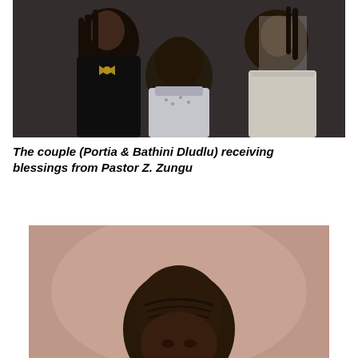[Figure (photo): Wedding photo showing a couple (Portia and Bathini Dludlu) bowing their heads while receiving blessings from Pastor Z. Zungu, who is wearing a black outfit with a gold bow tie. The bride is wearing a white strapless dress with a veil.]
The couple (Portia & Bathini Dludlu) receiving blessings from Pastor Z. Zungu
[Figure (photo): Portrait photo of a person with short hair against a light peach/pink background, showing the top portion of their head and face, shot from a slightly elevated angle.]